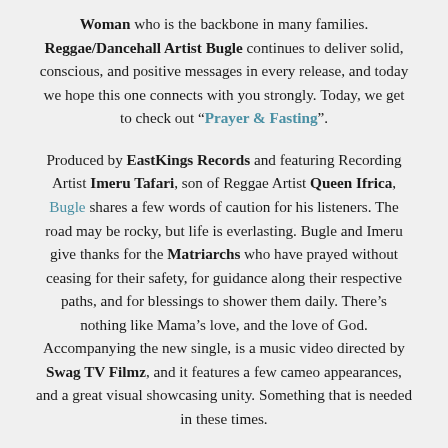Woman who is the backbone in many families. Reggae/Dancehall Artist Bugle continues to deliver solid, conscious, and positive messages in every release, and today we hope this one connects with you strongly. Today, we get to check out “Prayer & Fasting”.
Produced by EastKings Records and featuring Recording Artist Imeru Tafari, son of Reggae Artist Queen Ifrica, Bugle shares a few words of caution for his listeners. The road may be rocky, but life is everlasting. Bugle and Imeru give thanks for the Matriarchs who have prayed without ceasing for their safety, for guidance along their respective paths, and for blessings to shower them daily. There’s nothing like Mama’s love, and the love of God. Accompanying the new single, is a music video directed by Swag TV Filmz, and it features a few cameo appearances, and a great visual showcasing unity. Something that is needed in these times.